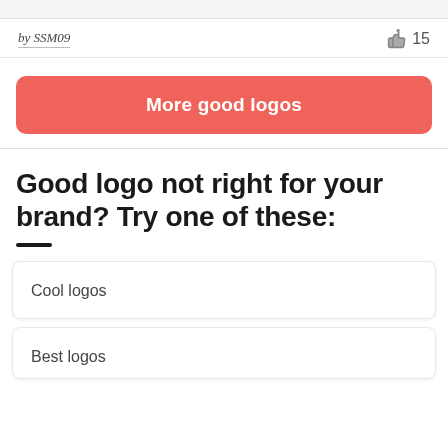by SSM09
👍 15
More good logos
Good logo not right for your brand? Try one of these:
Cool logos
Best logos